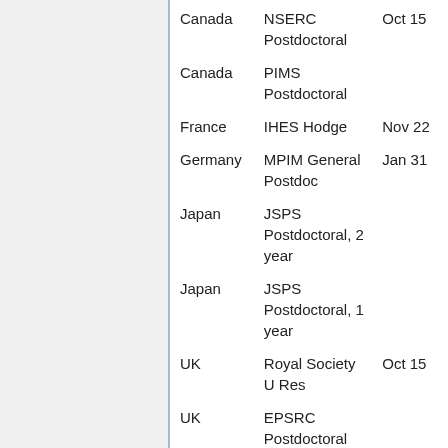| Country | Fellowship | Deadline |
| --- | --- | --- |
| Canada | NSERC Postdoctoral | Oct 15 |
| Canada | PIMS Postdoctoral |  |
| France | IHES Hodge | Nov 22 |
| Germany | MPIM General Postdoc | Jan 31 |
| Japan | JSPS Postdoctoral, 2 year |  |
| Japan | JSPS Postdoctoral, 1 year |  |
| UK | Royal Society U Res | Oct 15 |
| UK | EPSRC Postdoctoral |  |
| UK | Oxford-Cambridge Jr Res | various |